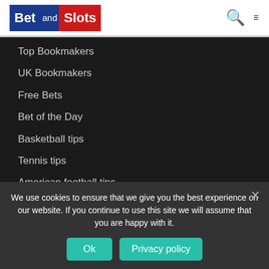[Figure (logo): BetandSlots logo with blue and red background blocks]
Top Bookmakers
UK Bookmakers
Free Bets
Bet of the Day
Basketball tips
Tennis tips
American football tips
Ice Hockey tips
Horse Racing tips
Greyhound tips
We use cookies to ensure that we give you the best experience on our website. If you continue to use this site we will assume that you are happy with it.
Ok | Privacy policy